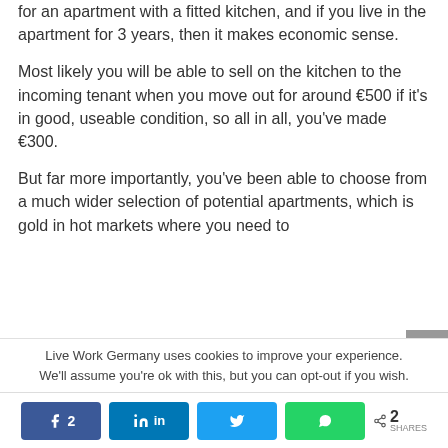for an apartment with a fitted kitchen, and if you live in the apartment for 3 years, then it makes economic sense.
Most likely you will be able to sell on the kitchen to the incoming tenant when you move out for around €500 if it's in good, useable condition, so all in all, you've made €300.
But far more importantly, you've been able to choose from a much wider selection of potential apartments, which is gold in hot markets where you need to
Live Work Germany uses cookies to improve your experience. We'll assume you're ok with this, but you can opt-out if you wish.
2 SHARES